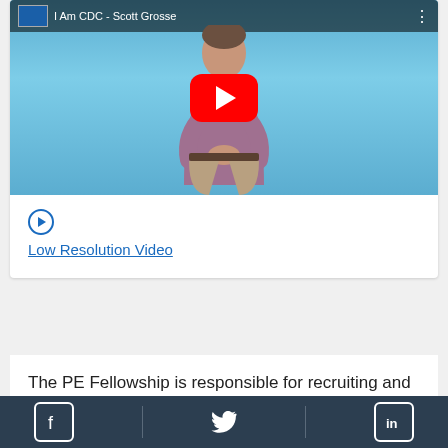[Figure (screenshot): YouTube video thumbnail showing a man in a purple shirt on a blue background, with a red YouTube play button centered. Video title bar at top reads 'I Am CDC - Scott Grosse'.]
Low Resolution Video
The PE Fellowship is responsible for recruiting and engaging the vast majority of economists, decision scientists, and quantitative policy analysts at CDC. Programs with teams of economists have been extremely successful in
Facebook | Twitter | LinkedIn